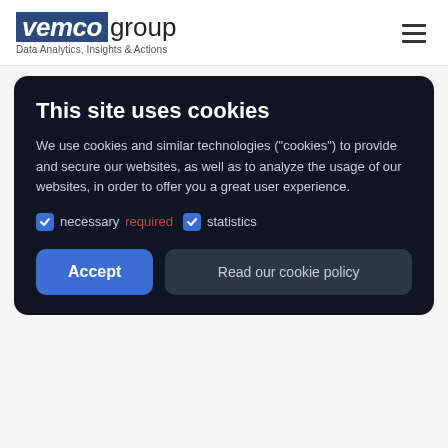[Figure (logo): Vemco Group logo with blue background on 'vemco' and plain text 'group', with tagline 'Data Analytics, Insights & Actions']
This site uses cookies
We use cookies and similar technologies ("cookies") to provide and secure our websites, as well as to analyze the usage of our websites, in order to offer you a great user experience.
necessary required   statistics
Accept   Read our cookie policy